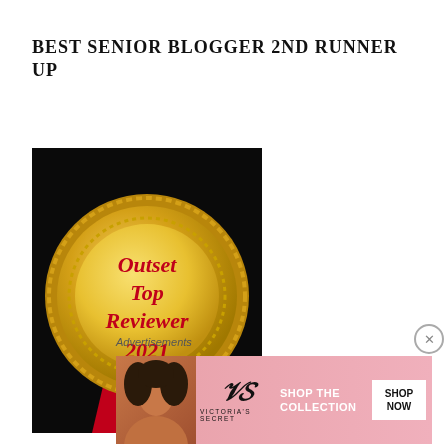BEST SENIOR BLOGGER 2ND RUNNER UP
[Figure (illustration): Gold medal badge with red ribbon on black background. Badge reads 'Outset Top Reviewer 2021' in red italic text on a gold circular medallion.]
Advertisements
[Figure (screenshot): Victoria's Secret advertisement banner showing a woman with curly hair on pink background with text 'SHOP THE COLLECTION' and a 'SHOP NOW' white button, along with the Victoria's Secret logo.]